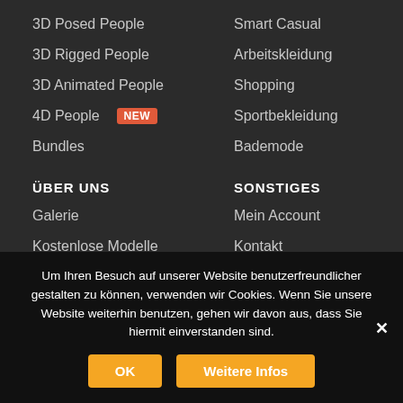3D Posed People
3D Rigged People
3D Animated People
4D People NEW
Bundles
Smart Casual
Arbeitskleidung
Shopping
Sportbekleidung
Bademode
ÜBER UNS
Galerie
Kostenlose Modelle
Kostenloses Resizer Plugin
Mengenrabatt
SONSTIGES
Mein Account
Kontakt
FAQ
Impressum
Um Ihren Besuch auf unserer Website benutzerfreundlicher gestalten zu können, verwenden wir Cookies. Wenn Sie unsere Website weiterhin benutzen, gehen wir davon aus, dass Sie hiermit einverstanden sind.
OK
Weitere Infos